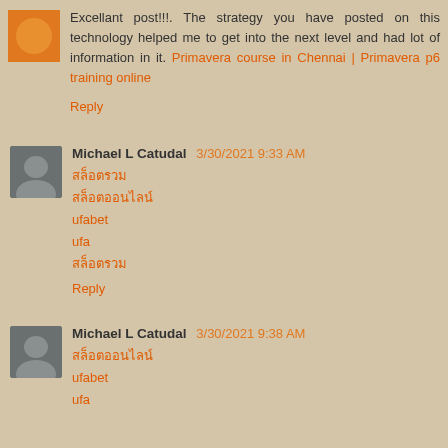Excellant post!!!. The strategy you have posted on this technology helped me to get into the next level and had lot of information in it. Primavera course in Chennai | Primavera p6 training online
Reply
Michael L Catudal 3/30/2021 9:33 AM
ufabet
ufa
Reply
Michael L Catudal 3/30/2021 9:38 AM
ufabet
ufa